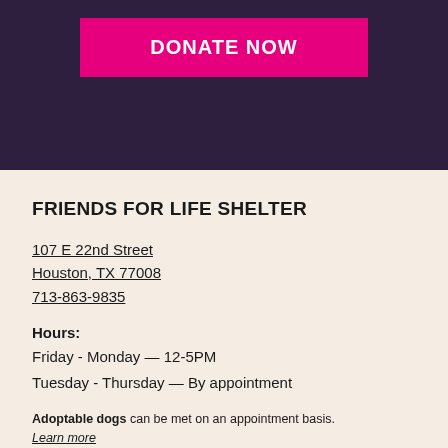[Figure (other): Dark purple background header section with a bright pink 'DONATE NOW' button centered at the top]
FRIENDS FOR LIFE SHELTER
107 E 22nd Street
Houston, TX 77008
713-863-9835
Hours:
Friday - Monday — 12-5PM
Tuesday - Thursday — By appointment
Adoptable dogs can be met on an appointment basis.
Learn more